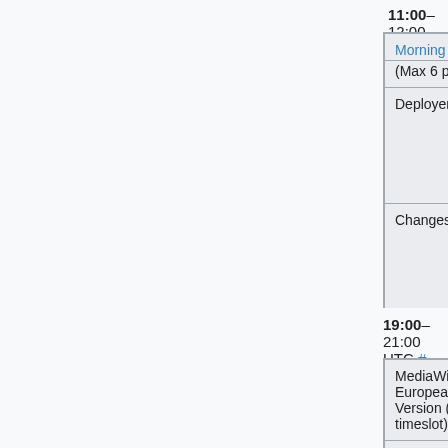11:00–12:00 PDT
| Morning backport window |  |
| --- | --- |
| Deployer | Roan (RoanKattouw), Niharika (Niharika), Martin (Urbanecm) |
| Changes | Requesting Developer (irc-nickname)
• Gerrit link to backport or config change |
19:00–21:00 UTC # 12:00–14:00 PDT
| MediaWiki train - European+American Version (secondary timeslot) |  |
| --- | --- |
| Deployer | Lars (liw), Jeena (longma) |